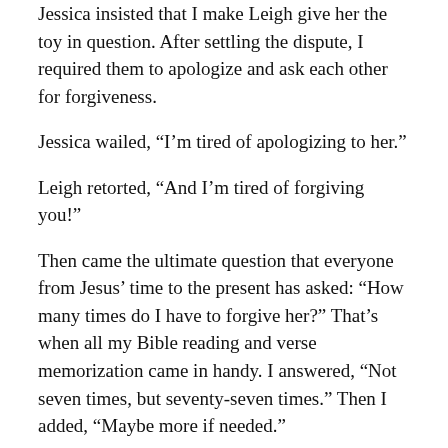Jessica insisted that I make Leigh give her the toy in question. After settling the dispute, I required them to apologize and ask each other for forgiveness.
Jessica wailed, “I’m tired of apologizing to her.”
Leigh retorted, “And I’m tired of forgiving you!”
Then came the ultimate question that everyone from Jesus’ time to the present has asked: “How many times do I have to forgive her?” That’s when all my Bible reading and verse memorization came in handy. I answered, “Not seven times, but seventy-seven times.” Then I added, “Maybe more if needed.”
Jesus continuously taught His followers the basic